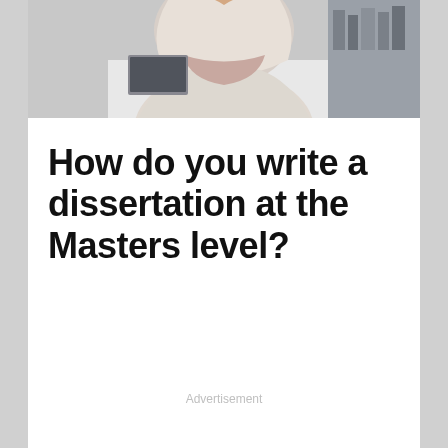[Figure (photo): Partial photo of a woman wearing a hijab and light blazer, seated at a desk in an office or study setting]
How do you write a dissertation at the Masters level?
Advertisement